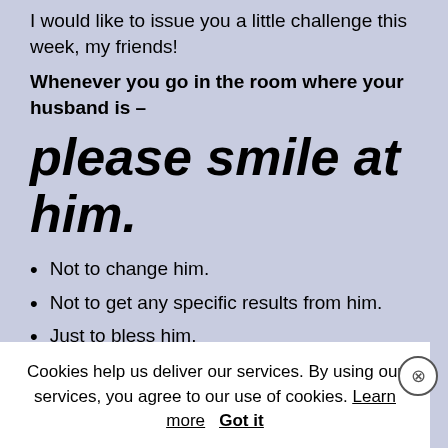I would like to issue you a little challenge this week, my friends!
Whenever you go in the room where your husband is –
please smile at him.
Not to change him.
Not to get any specific results from him.
Just to bless him.
Cookies help us deliver our services. By using our services, you agree to our use of cookies. Learn more  Got it